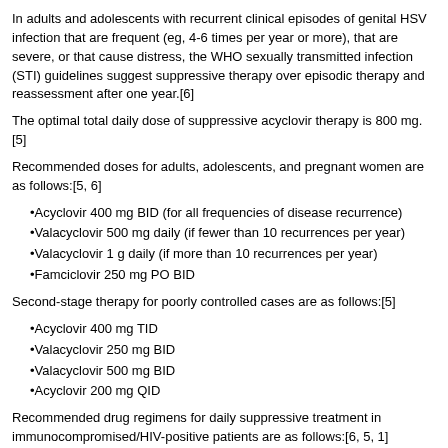In adults and adolescents with recurrent clinical episodes of genital HSV infection that are frequent (eg, 4-6 times per year or more), that are severe, or that cause distress, the WHO sexually transmitted infection (STI) guidelines suggest suppressive therapy over episodic therapy and reassessment after one year.[6]
The optimal total daily dose of suppressive acyclovir therapy is 800 mg.[5]
Recommended doses for adults, adolescents, and pregnant women are as follows:[5, 6]
Acyclovir 400 mg BID (for all frequencies of disease recurrence)
Valacyclovir 500 mg daily (if fewer than 10 recurrences per year)
Valacyclovir 1 g daily (if more than 10 recurrences per year)
Famciclovir 250 mg PO BID
Second-stage therapy for poorly controlled cases are as follows:[5]
Acyclovir 400 mg TID
Valacyclovir 250 mg BID
Valacyclovir 500 mg BID
Acyclovir 200 mg QID
Recommended drug regimens for daily suppressive treatment in immunocompromised/HIV-positive patients are as follows:[6, 5, 1]
Acyclovir 400-800 mg PO BID to TID
Valacyclovir 500 mg PO BID
Famciclovir 500 mg PO BID
If these options do not adequately control disease, the first option should be